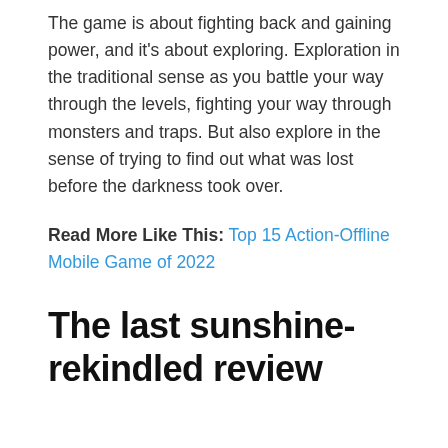The game is about fighting back and gaining power, and it's about exploring. Exploration in the traditional sense as you battle your way through the levels, fighting your way through monsters and traps. But also explore in the sense of trying to find out what was lost before the darkness took over.
Read More Like This: Top 15 Action-Offline Mobile Game of 2022
The last sunshine-rekindled review